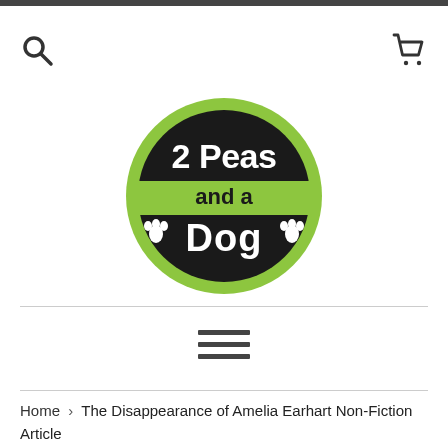[Figure (logo): 2 Peas and a Dog logo: a circular badge with a lime-green outer ring and black background. Text '2 Peas' in white bold font on top, a lime-green horizontal band with 'and a' in black, and '🐾 Dog 🐾' in white bold font below.]
☰ (hamburger menu icon)
Home › The Disappearance of Amelia Earhart Non-Fiction Article